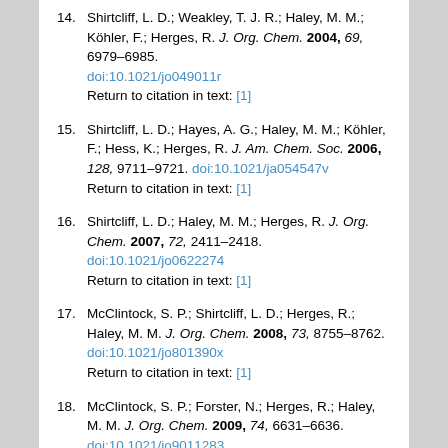14. Shirtcliff, L. D.; Weakley, T. J. R.; Haley, M. M.; Köhler, F.; Herges, R. J. Org. Chem. 2004, 69, 6979–6985. doi:10.1021/jo049011r Return to citation in text: [1]
15. Shirtcliff, L. D.; Hayes, A. G.; Haley, M. M.; Köhler, F.; Hess, K.; Herges, R. J. Am. Chem. Soc. 2006, 128, 9711–9721. doi:10.1021/ja054547v Return to citation in text: [1]
16. Shirtcliff, L. D.; Haley, M. M.; Herges, R. J. Org. Chem. 2007, 72, 2411–2418. doi:10.1021/jo0622274 Return to citation in text: [1]
17. McClintock, S. P.; Shirtcliff, L. D.; Herges, R.; Haley, M. M. J. Org. Chem. 2008, 73, 8755–8762. doi:10.1021/jo801390x Return to citation in text: [1]
18. McClintock, S. P.; Forster, N.; Herges, R.; Haley, M. M. J. Org. Chem. 2009, 74, 6631–6636. doi:10.1021/jo9011283 Return to citation in text: [1]